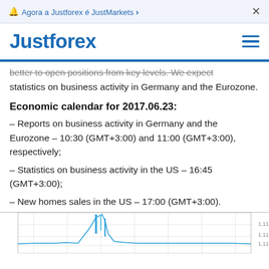🔔 Agora a Justforex é JustMarkets ›   ×
Justforex ≡
better to open positions from key levels. We expect statistics on business activity in Germany and the Eurozone.
Economic calendar for 2017.06.23:
– Reports on business activity in Germany and the Eurozone – 10:30 (GMT+3:00) and 11:00 (GMT+3:00), respectively;
– Statistics on business activity in the US – 16:45 (GMT+3:00);
– New homes sales in the US – 17:00 (GMT+3:00).
[Figure (continuous-plot): Partial financial chart visible at bottom of page, appears to be a candlestick or line chart with a spike visible in the middle portion.]